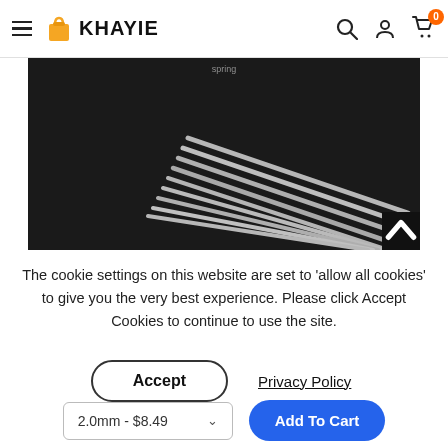KHAYIE
[Figure (photo): Product photo of aluminum welding rods/wires arranged on a dark background]
The cookie settings on this website are set to 'allow all cookies' to give you the very best experience. Please click Accept Cookies to continue to use the site.
Accept
Privacy Policy
2.0mm - $8.49
Add To Cart